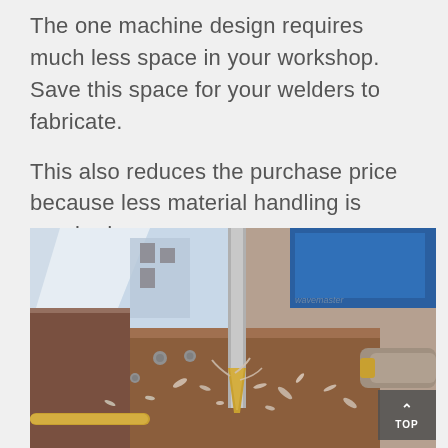The one machine design requires much less space in your workshop. Save this space for your welders to fabricate.
This also reduces the purchase price because less material handling is required.
[Figure (photo): Close-up photograph of a CNC milling machine or drill press drilling into a metal workpiece (brown/rusty steel plate), with metal shavings/chips scattered around. A golden-colored drill bit is visible in action. Blue machine components visible in the background. A 'TOP' navigation button is overlaid in the bottom-right corner.]